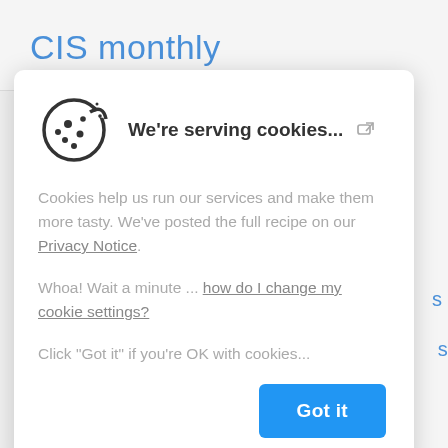CIS monthly
[Figure (screenshot): Cookie consent modal dialog with cookie icon, title 'We're serving cookies...', body text, and 'Got it' button]
We're serving cookies...
Cookies help us run our services and make them more tasty. We've posted the full recipe on our Privacy Notice.
Whoa! Wait a minute ... how do I change my cookie settings?
Click "Got it" if you're OK with cookies...